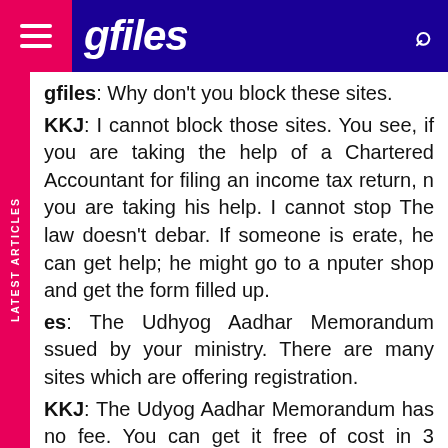gfiles (navigation bar)
gfiles: Why don't you block these sites. KKJ: I cannot block those sites. You see, if you are taking the help of a Chartered Accountant for filing an income tax return, n you are taking his help. I cannot stop The law doesn't debar. If someone is erate, he can get help; he might go to a nputer shop and get the form filled up.
es: The Udhyog Aadhar Memorandum ssued by your ministry. There are many sites which are offering registration. KKJ: The Udyog Aadhar Memorandum has no fee. You can get it free of cost in 3 minutes. It is on our ministry's site. You can go to our website and there is no charge. What the people have done is that they